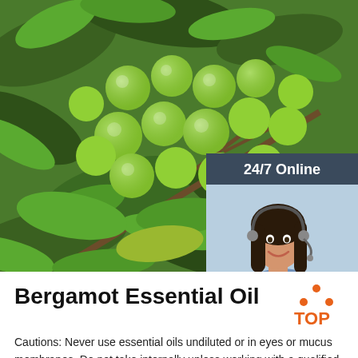[Figure (photo): Close-up photo of green bergamot fruits on a branch with leaves, forming the main background image of the page]
[Figure (infographic): Dark blue overlay panel showing '24/7 Online' text, image of female operator with headset, 'Click here for free chat!' text, and orange QUOTATION button]
Bergamot Essential Oil
Cautions: Never use essential oils undiluted or in eyes or mucus membranes. Do not take internally unless working with a qualified and expert practitioner. Keep away from children